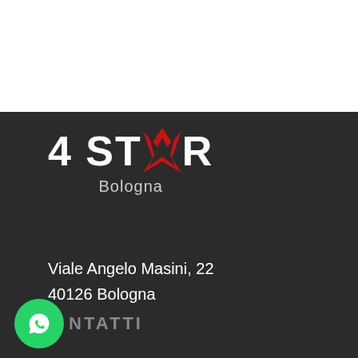[Figure (logo): 4STAR Bologna logo with red star shape replacing the A, white text on dark background]
Viale Angelo Masini, 22
40126 Bologna
[Figure (logo): WhatsApp green circle icon]
CONTATTI